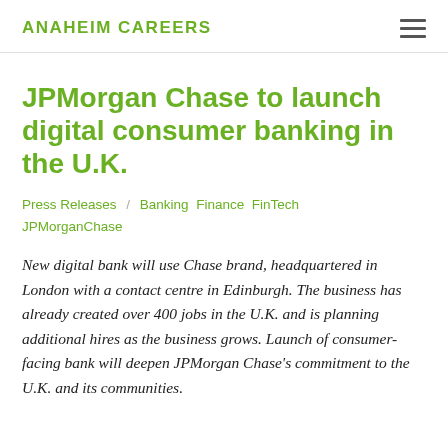ANAHEIM CAREERS
JPMorgan Chase to launch digital consumer banking in the U.K.
Press Releases  /  Banking  Finance  FinTech  JPMorganChase
New digital bank will use Chase brand, headquartered in London with a contact centre in Edinburgh. The business has already created over 400 jobs in the U.K. and is planning additional hires as the business grows. Launch of consumer-facing bank will deepen JPMorgan Chase's commitment to the U.K. and its communities.